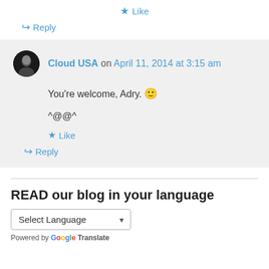★ Like
↪ Reply
Cloud USA on April 11, 2014 at 3:15 am
You're welcome, Adry. 🙂
^@@^
★ Like
↪ Reply
READ our blog in your language
Select Language
Powered by Google Translate